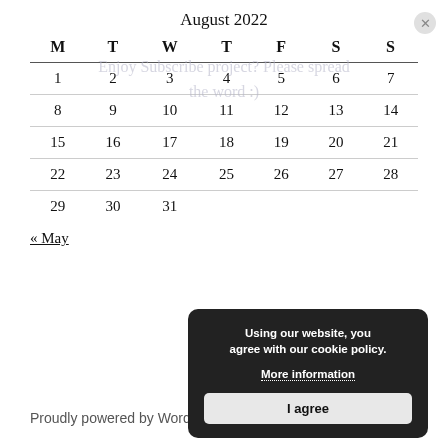August 2022
| M | T | W | T | F | S | S |
| --- | --- | --- | --- | --- | --- | --- |
| 1 | 2 | 3 | 4 | 5 | 6 | 7 |
| 8 | 9 | 10 | 11 | 12 | 13 | 14 |
| 15 | 16 | 17 | 18 | 19 | 20 | 21 |
| 22 | 23 | 24 | 25 | 26 | 27 | 28 |
| 29 | 30 | 31 |  |  |  |  |
« May
Proudly powered by WordPress
Using our website, you agree with our cookie policy. More information
I agree